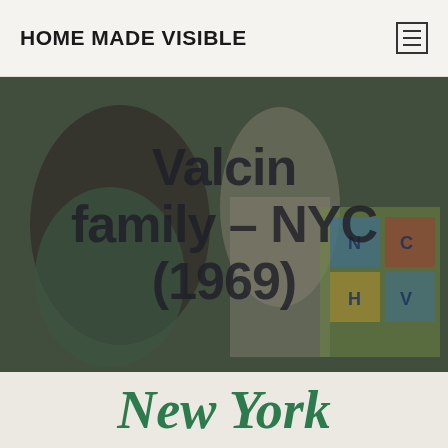HOME MADE VISIBLE
[Figure (photo): Vintage photograph from 1969 showing two Black women, one older and one younger, looking at an alphabet toy/game with colorful letter blocks. The image has a warm, slightly faded quality typical of late 1960s photography.]
Valcin family – NYC (1969)
New York